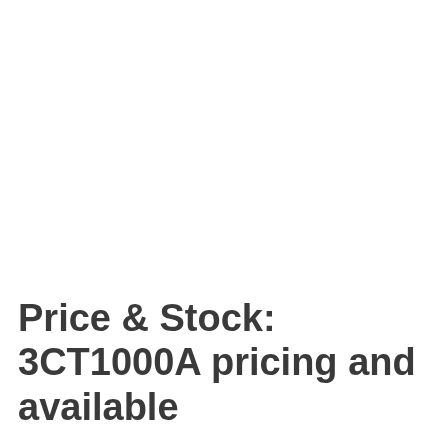Price & Stock: 3CT1000A pricing and available